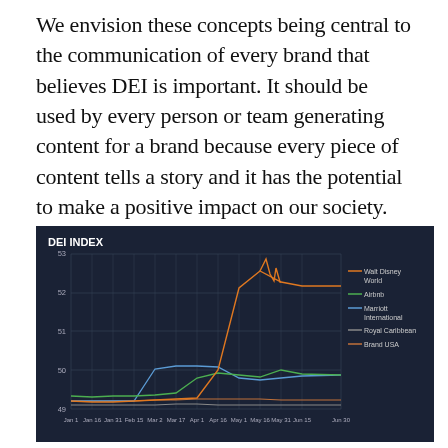We envision these concepts being central to the communication of every brand that believes DEI is important. It should be used by every person or team generating content for a brand because every piece of content tells a story and it has the potential to make a positive impact on our society.
[Figure (line-chart): DEI INDEX]